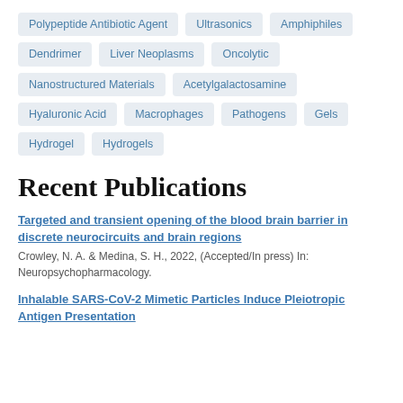Polypeptide Antibiotic Agent
Ultrasonics
Amphiphiles
Dendrimer
Liver Neoplasms
Oncolytic
Nanostructured Materials
Acetylgalactosamine
Hyaluronic Acid
Macrophages
Pathogens
Gels
Hydrogel
Hydrogels
Recent Publications
Targeted and transient opening of the blood brain barrier in discrete neurocircuits and brain regions
Crowley, N. A. & Medina, S. H., 2022, (Accepted/In press) In: Neuropsychopharmacology.
Inhalable SARS-CoV-2 Mimetic Particles Induce Pleiotropic Antigen Presentation